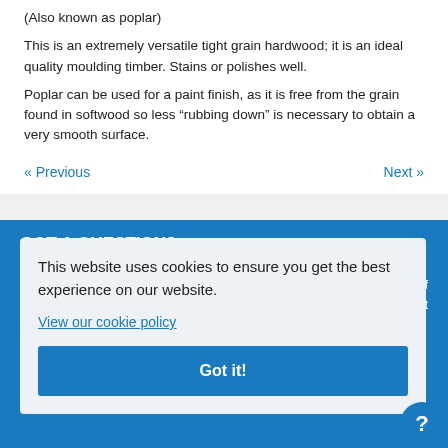(Also known as poplar)
This is an extremely versatile tight grain hardwood; it is an ideal quality moulding timber. Stains or polishes well.
Poplar can be used for a paint finish, as it is free from the grain found in softwood so less “rubbing down” is necessary to obtain a very smooth surface.
« Previous    Next »
GOT A QUESTION?
This website uses cookies to ensure you get the best experience on our website.
View our cookie policy
Got it!